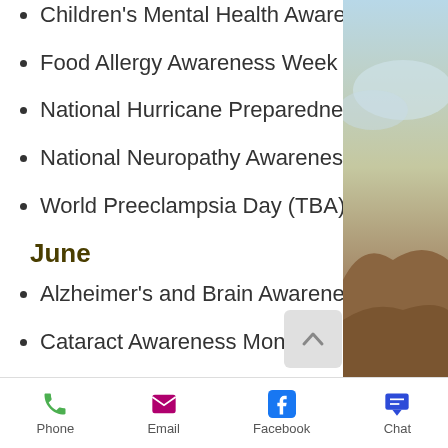Children's Mental Health Awareness Week (TBA)
Food Allergy Awareness Week (TBA)
National Hurricane Preparedness Week (TBA)
National Neuropathy Awareness Week (TBA)
World Preeclampsia Day (TBA)
June
Alzheimer's and Brain Awareness Month
Cataract Awareness Month
[Figure (photo): Outdoor scenic photo showing sky and rocky terrain on right side of page]
Phone  Email  Facebook  Chat